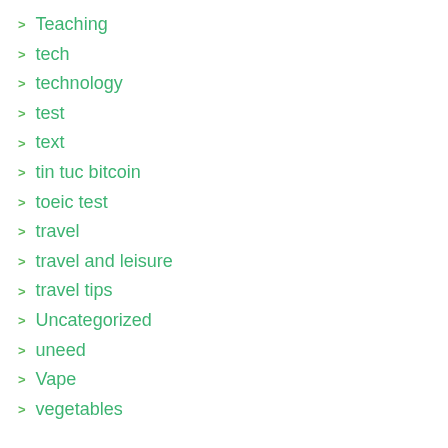Teaching
tech
technology
test
text
tin tuc bitcoin
toeic test
travel
travel and leisure
travel tips
Uncategorized
uneed
Vape
vegetables